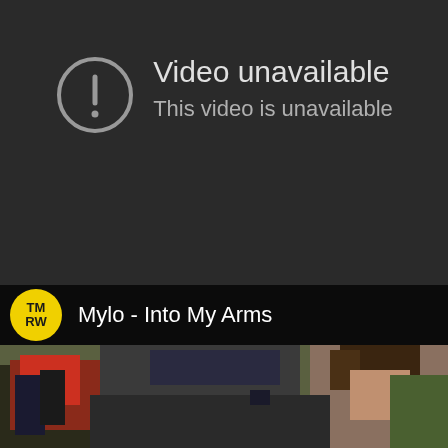[Figure (screenshot): YouTube video unavailable error screen showing a circle with exclamation mark icon, title 'Video unavailable' and subtitle 'This video is unavailable' on dark background. Below is a thumbnail for 'Mylo - Into My Arms' with TMRW logo and a person in a car scene.]
Video unavailable
This video is unavailable
Mylo - Into My Arms